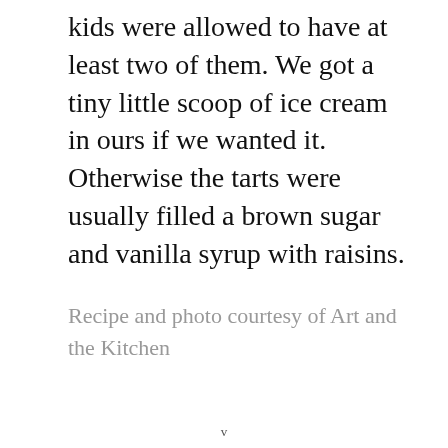kids were allowed to have at least two of them. We got a tiny little scoop of ice cream in ours if we wanted it. Otherwise the tarts were usually filled a brown sugar and vanilla syrup with raisins.
Recipe and photo courtesy of Art and the Kitchen
v